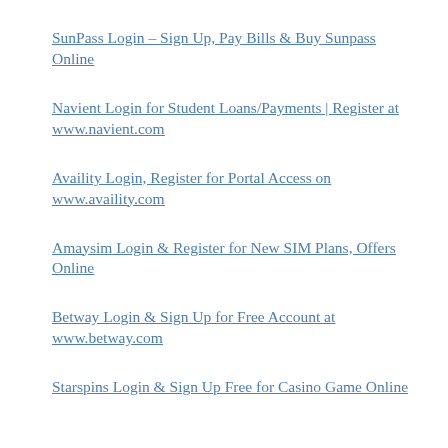SunPass Login – Sign Up, Pay Bills & Buy Sunpass Online
Navient Login for Student Loans/Payments | Register at www.navient.com
Availity Login, Register for Portal Access on www.availity.com
Amaysim Login & Register for New SIM Plans, Offers Online
Betway Login & Sign Up for Free Account at www.betway.com
Starspins Login & Sign Up Free for Casino Game Online